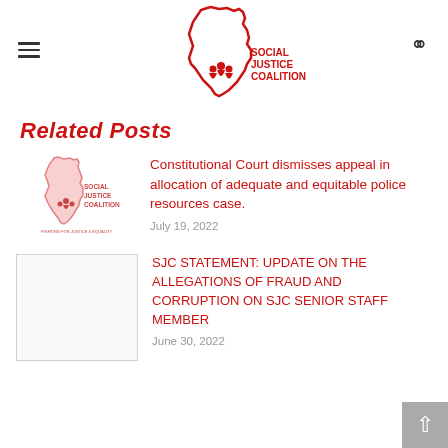Social Justice Coalition
Related Posts
[Figure (logo): Social Justice Coalition logo - outline of Africa continent in red with figures inside, text reads SOCIAL JUSTICE COALITION]
Constitutional Court dismisses appeal in allocation of adequate and equitable police resources case.
July 19, 2022
[Figure (photo): Blank/placeholder thumbnail image with light border]
SJC STATEMENT: UPDATE ON THE ALLEGATIONS OF FRAUD AND CORRUPTION ON SJC SENIOR STAFF MEMBER
June 30, 2022